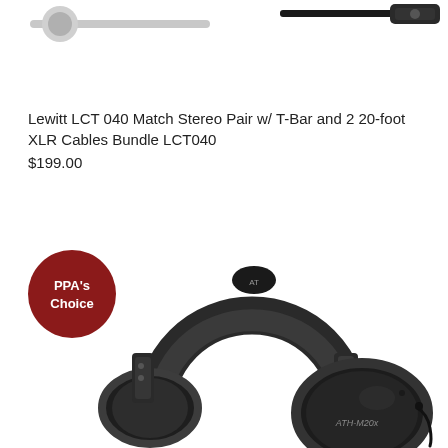[Figure (photo): Partial view of a cable connector at the top of the page]
Lewitt LCT 040 Match Stereo Pair w/ T-Bar and 2 20-foot XLR Cables Bundle LCT040
$199.00
[Figure (photo): Red circular badge with text 'PPA's Choice']
[Figure (photo): Audio-Technica ATH-M20x black over-ear studio monitor headphones shown from a 3/4 angle, showing the headband and ear cup with ATH-M20x label visible]